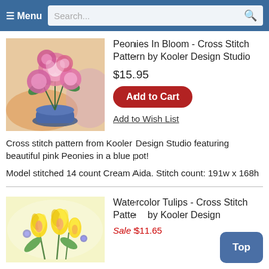≡ Menu  Search...
Peonies In Bloom - Cross Stitch Pattern by Kooler Design Studio
$15.95
Add to Cart
Add to Wish List
[Figure (illustration): Cross stitch pattern image of pink peonies in a blue pot]
Cross stitch pattern from Kooler Design Studio featuring beautiful pink Peonies in a blue pot!
Model stitched 14 count Cream Aida. Stitch count: 191w x 168h
Watercolor Tulips - Cross Stitch Pattern by Kooler Design...
Sale $11.65
[Figure (illustration): Cross stitch pattern image of watercolor tulips]